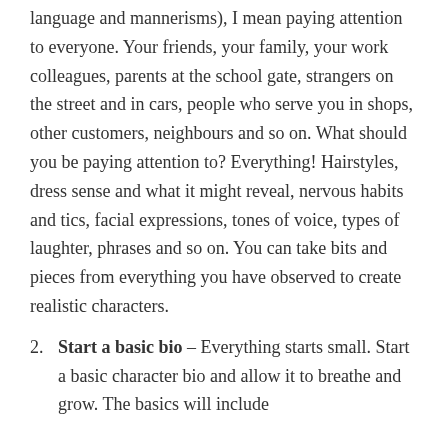language and mannerisms), I mean paying attention to everyone. Your friends, your family, your work colleagues, parents at the school gate, strangers on the street and in cars, people who serve you in shops, other customers, neighbours and so on. What should you be paying attention to? Everything! Hairstyles, dress sense and what it might reveal, nervous habits and tics, facial expressions, tones of voice, types of laughter, phrases and so on. You can take bits and pieces from everything you have observed to create realistic characters.
Start a basic bio – Everything starts small. Start a basic character bio and allow it to breathe and grow. The basics will include